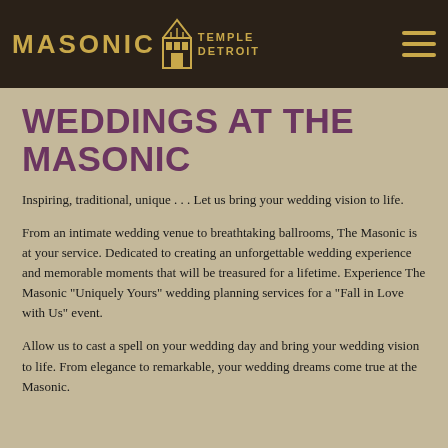MASONIC TEMPLE DETROIT
WEDDINGS AT THE MASONIC
Inspiring, traditional, unique . . . Let us bring your wedding vision to life.
From an intimate wedding venue to breathtaking ballrooms, The Masonic is at your service. Dedicated to creating an unforgettable wedding experience and memorable moments that will be treasured for a lifetime. Experience The Masonic "Uniquely Yours" wedding planning services for a "Fall in Love with Us" event.
Allow us to cast a spell on your wedding day and bring your wedding vision to life. From elegance to remarkable, your wedding dreams come true at the Masonic.